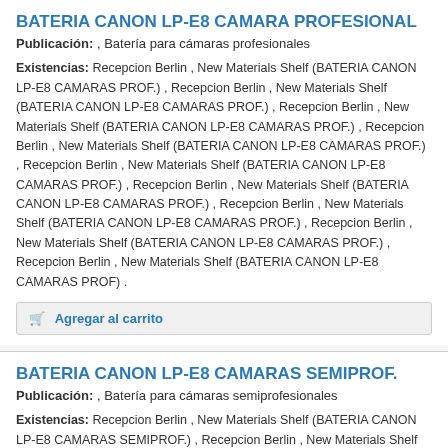BATERIA CANON LP-E8 CAMARA PROFESIONAL
Publicación: , Batería para cámaras profesionales
Existencias: Recepcion Berlin , New Materials Shelf (BATERIA CANON LP-E8 CAMARAS PROF.) , Recepcion Berlin , New Materials Shelf (BATERIA CANON LP-E8 CAMARAS PROF.) , Recepcion Berlin , New Materials Shelf (BATERIA CANON LP-E8 CAMARAS PROF.) , Recepcion Berlin , New Materials Shelf (BATERIA CANON LP-E8 CAMARAS PROF.) , Recepcion Berlin , New Materials Shelf (BATERIA CANON LP-E8 CAMARAS PROF.) , Recepcion Berlin , New Materials Shelf (BATERIA CANON LP-E8 CAMARAS PROF.) , Recepcion Berlin , New Materials Shelf (BATERIA CANON LP-E8 CAMARAS PROF.) , Recepcion Berlin , New Materials Shelf (BATERIA CANON LP-E8 CAMARAS PROF.) , Recepcion Berlin , New Materials Shelf (BATERIA CANON LP-E8 CAMARAS PROF) .
Agregar al carrito
BATERIA CANON LP-E8 CAMARAS SEMIPROF.
Publicación: , Batería para cámaras semiprofesionales
Existencias: Recepcion Berlin , New Materials Shelf (BATERIA CANON LP-E8 CAMARAS SEMIPROF.) , Recepcion Berlin , New Materials Shelf (BATERIA CANON LP-E8 CAMARAS SEMIPROF.) , Recepcion Berlin , New Materials Shelf (BATERIA CANON LP-E8 CAMARAS SEMIPROF.) , Recepcion Berlin , New Materials Shelf (BATERIA CANON LP-E8 CAMARAS SEMIPROF.) , Recepcion Berlin , New Materials Shelf (BATERIA CANON LP-E8 CAMARAS SEMIPROF.) , Recepcion Berlin , New Materials Shelf (BATERIA CANON LP-E8 CAMARAS SEMIPROF.) , Recepcion Berlin , New Materials Shelf (BATERIA CANON LP-E8 CAMARAS SEMIPROF.) , Recepcion Berlin , New Materials Shelf (BATERIA CANON LP-E8